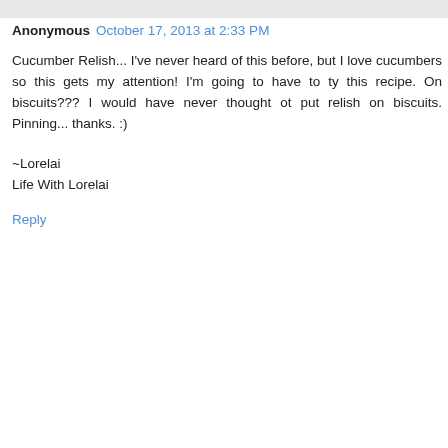Anonymous  October 17, 2013 at 2:33 PM
Cucumber Relish... I've never heard of this before, but I love cucumbers so this gets my attention! I'm going to have to ty this recipe. On biscuits??? I would have never thought ot put relish on biscuits. Pinning... thanks. :)
~Lorelai
Life With Lorelai
Reply